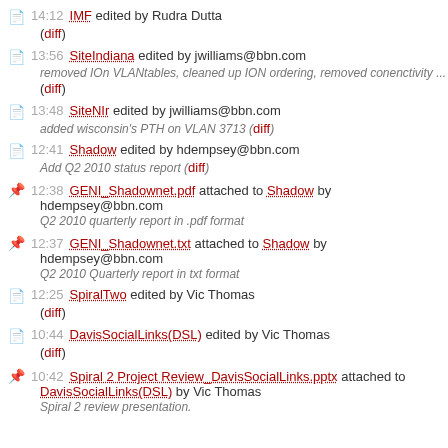14:12 IMF edited by Rudra Dutta (diff)
13:56 SiteIndiana edited by jwilliams@bbn.com removed IOn VLANtables, cleaned up ION ordering, removed conenctivity ... (diff)
13:48 SiteNIr edited by jwilliams@bbn.com added wisconsin's PTH on VLAN 3713 (diff)
12:41 Shadow edited by hdempsey@bbn.com Add Q2 2010 status report (diff)
12:38 GENI_Shadownet.pdf attached to Shadow by hdempsey@bbn.com Q2 2010 quarterly report in .pdf format
12:37 GENI_Shadownet.txt attached to Shadow by hdempsey@bbn.com Q2 2010 Quarterly report in txt format
12:25 SpiralTwo edited by Vic Thomas (diff)
10:44 DavisSocialLinks(DSL) edited by Vic Thomas (diff)
10:42 Spiral 2 Project Review_DavisSocialLinks.pptx attached to DavisSocialLinks(DSL) by Vic Thomas Spiral 2 review presentation.